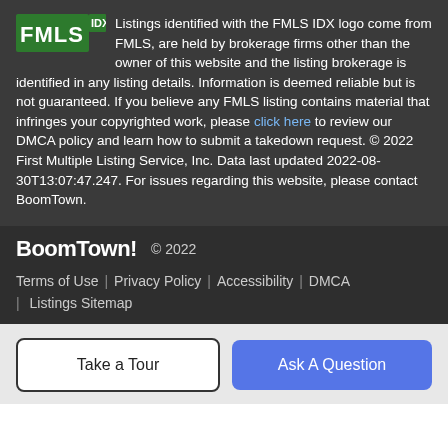Listings identified with the FMLS IDX logo come from FMLS, are held by brokerage firms other than the owner of this website and the listing brokerage is identified in any listing details. Information is deemed reliable but is not guaranteed. If you believe any FMLS listing contains material that infringes your copyrighted work, please click here to review our DMCA policy and learn how to submit a takedown request. © 2022 First Multiple Listing Service, Inc. Data last updated 2022-08-30T13:07:47.247. For issues regarding this website, please contact BoomTown.
BoomTown! © 2022 | Terms of Use | Privacy Policy | Accessibility | DMCA | Listings Sitemap
Take a Tour | Ask A Question